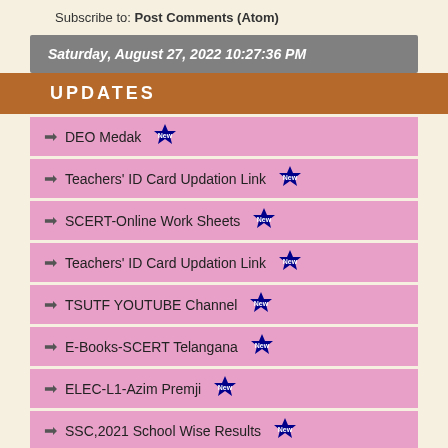Subscribe to: Post Comments (Atom)
Saturday, August 27, 2022 10:27:36 PM
UPDATES
DEO Medak [New]
Teachers' ID Card Updation Link [New]
SCERT-Online Work Sheets [New]
Teachers' ID Card Updation Link [New]
TSUTF YOUTUBE Channel [New]
E-Books-SCERT Telangana [New]
ELEC-L1-Azim Premji [New]
SSC,2021 School Wise Results [New]
LIC Online Update [New]
Tax Calculator FY,2020-2021 [New]